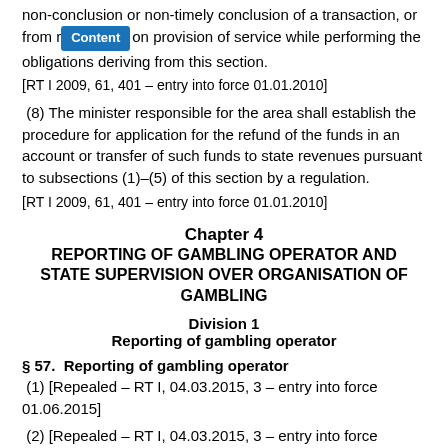non-conclusion or non-timely conclusion of a transaction, or from r[Content]on provision of service while performing the obligations deriving from this section.
[RT I 2009, 61, 401 – entry into force 01.01.2010]
(8) The minister responsible for the area shall establish the procedure for application for the refund of the funds in an account or transfer of such funds to state revenues pursuant to subsections (1)–(5) of this section by a regulation.
[RT I 2009, 61, 401 – entry into force 01.01.2010]
Chapter 4
REPORTING OF GAMBLING OPERATOR AND STATE SUPERVISION OVER ORGANISATION OF GAMBLING
Division 1
Reporting of gambling operator
§ 57.  Reporting of gambling operator
(1) [Repealed – RT I, 04.03.2015, 3 – entry into force 01.06.2015]
(2) [Repealed – RT I, 04.03.2015, 3 – entry into force 01.06.2015]
(3) The gambling operator shall is required to inform the Tax and...